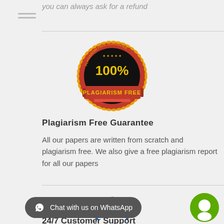you can always ask for a refund
[Figure (logo): 100% Plagiarism Free guarantee badge — circular seal with red border, gold text reading 100%, banner reading PLAGIARISM FREE]
Plagiarism Free Guarantee
All our papers are written from scratch and plagiarism free. We also give a free plagiarism report for all our papers
[Figure (logo): 24/7 clock icon — blue circular arrow with 24/7 text and a yellow dot, representing 24/7 customer support]
24/7 Customer Support